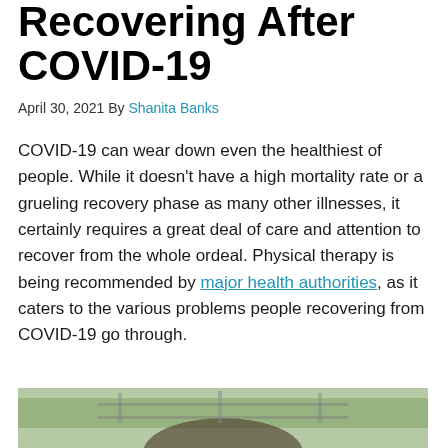Recovering After COVID-19
April 30, 2021 By Shanita Banks
COVID-19 can wear down even the healthiest of people. While it doesn't have a high mortality rate or a grueling recovery phase as many other illnesses, it certainly requires a great deal of care and attention to recover from the whole ordeal. Physical therapy is being recommended by major health authorities, as it caters to the various problems people recovering from COVID-19 go through.
[Figure (photo): Photo of a person in a physical therapy or medical setting, with green outdoor background visible through a window]